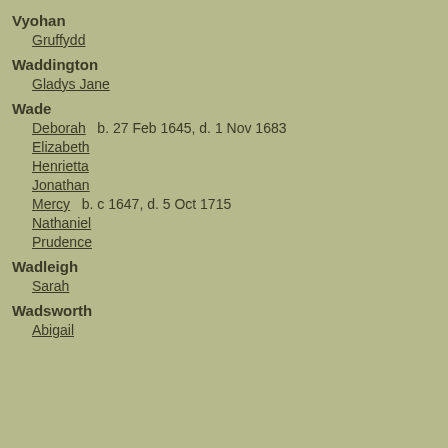Vyohan
  Gruffydd
Waddington
  Gladys Jane
Wade
  Deborah  b. 27 Feb 1645, d. 1 Nov 1683
  Elizabeth
  Henrietta
  Jonathan
  Mercy  b. c 1647, d. 5 Oct 1715
  Nathaniel
  Prudence
Wadleigh
  Sarah
Wadsworth
  Abigail